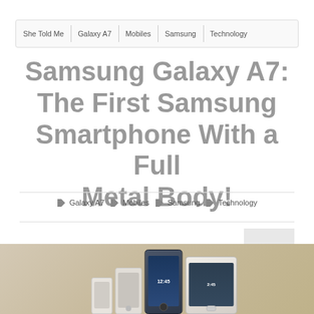She Told Me | Galaxy A7 | Mobiles | Samsung | Technology
Samsung Galaxy A7: The First Samsung Smartphone With a Full Metal Body!
Galaxy A7 | Mobiles | Samsung | Technology
[Figure (photo): Samsung Galaxy A7 smartphones — multiple models shown in various colors (white and dark) arranged side by side on a neutral tan/beige background]